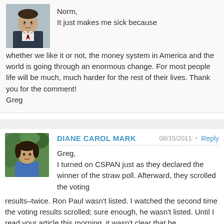Norm, It just makes me sick because whether we like it or not, the money system in America and the world is going through an enormous change. For most people life will be much, much harder for the rest of their lives. Thank you for the comment! Greg
DIANE CAROL MARK 08/15/2011 Reply
Greg, I turned on CSPAN just as they declared the winner of the straw poll. Afterward, they scrolled the voting results–twice. Ron Paul wasn't listed. I watched the second time the voting results scrolled; sure enough, he wasn't listed. Until I read your article this morning, it wasn't clear that he participated.
CSPAN isn't MSM–it's supposed to be unbiased, direct reporting of the events as they are. Shocking reality that Ron Paul wasn't included in the tallies on cspan either.